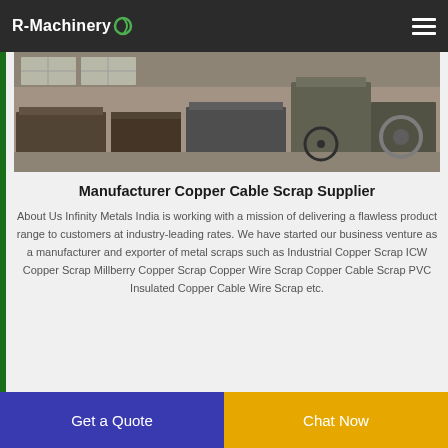R-Machinery
[Figure (photo): Industrial warehouse interior with metal equipment, machinery frames, and a bicycle visible in the background on a concrete floor.]
Manufacturer Copper Cable Scrap Supplier
About Us Infinity Metals India is working with a mission of delivering a flawless product range to customers at industry-leading rates. We have started our business venture as a manufacturer and exporter of metal scraps such as Industrial Copper Scrap ICW Copper Scrap Millberry Copper Scrap Copper Wire Scrap Copper Cable Scrap PVC Insulated Copper Cable Wire Scrap etc.
Get a Quote
Chat Now